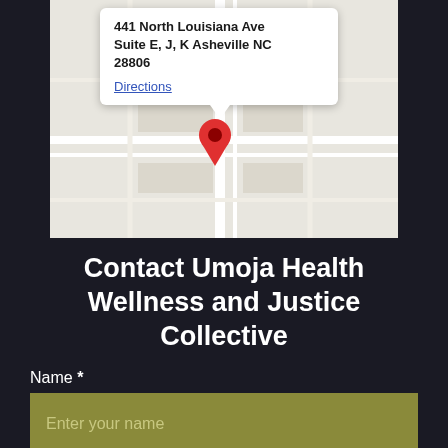[Figure (map): Google Maps screenshot showing a location pin at 441 North Louisiana Ave, Suite E, J, K Asheville NC 28806, with a callout popup showing the address and a Directions link]
Contact Umoja Health Wellness and Justice Collective
Name *
Enter your name
Email *